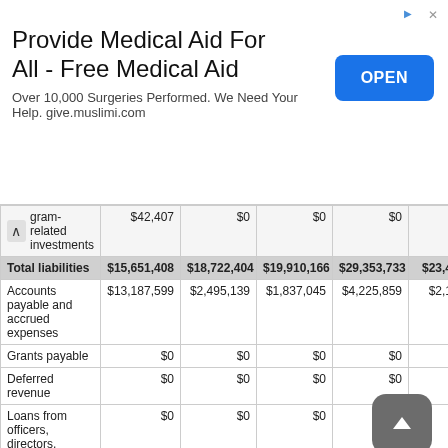[Figure (other): Advertisement banner: Provide Medical Aid For All - Free Medical Aid. Over 10,000 Surgeries Performed. We Need Your Help. give.muslimi.com. OPEN button.]
|  | Col1 | Col2 | Col3 | Col4 | Col5 |
| --- | --- | --- | --- | --- | --- |
| gram-related investments | $42,407 | $0 | $0 | $0 |  |
| Total liabilities | $15,651,408 | $18,722,404 | $19,910,166 | $29,353,733 | $23,4... |
| Accounts payable and accrued expenses | $13,187,599 | $2,495,139 | $1,837,045 | $4,225,859 | $2,1... |
| Grants payable | $0 | $0 | $0 | $0 |  |
| Deferred revenue | $0 | $0 | $0 | $0 |  |
| Loans from officers, directors, trustees, and key employees | $0 | $0 | $0 |  |  |